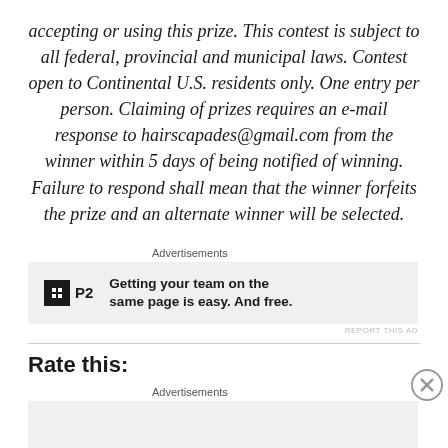accepting or using this prize. This contest is subject to all federal, provincial and municipal laws. Contest open to Continental U.S. residents only. One entry per person. Claiming of prizes requires an e-mail response to hairscapades@gmail.com from the winner within 5 days of being notified of winning. Failure to respond shall mean that the winner forfeits the prize and an alternate winner will be selected.
Advertisements
[Figure (other): Advertisement banner for P2 service with logo and text: Getting your team on the same page is easy. And free.]
REPORT THIS AD
Rate this:
Advertisements
[Figure (other): Second advertisement banner area (empty/gray)]
REPORT THIS AD